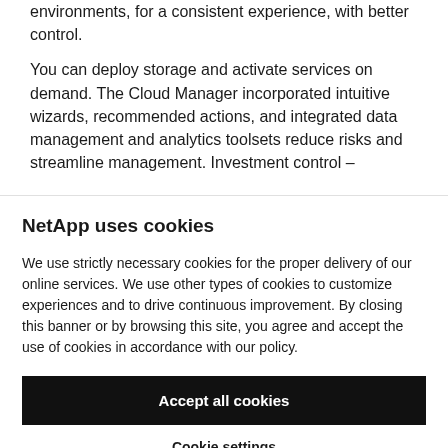environments, for a consistent experience, with better control.
You can deploy storage and activate services on demand. The Cloud Manager incorporated intuitive wizards, recommended actions, and integrated data management and analytics toolsets reduce risks and streamline management. Investment control –
NetApp uses cookies
We use strictly necessary cookies for the proper delivery of our online services. We use other types of cookies to customize experiences and to drive continuous improvement. By closing this banner or by browsing this site, you agree and accept the use of cookies in accordance with our policy.
Accept all cookies
Cookie settings